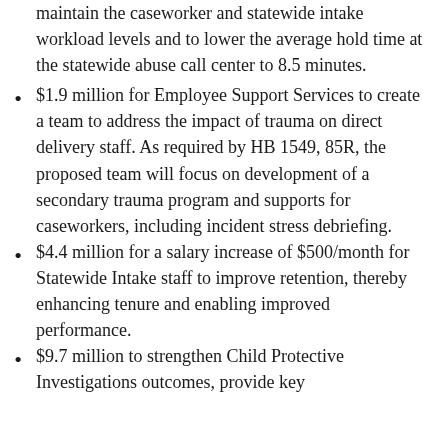maintain the caseworker and statewide intake workload levels and to lower the average hold time at the statewide abuse call center to 8.5 minutes.
$1.9 million for Employee Support Services to create a team to address the impact of trauma on direct delivery staff. As required by HB 1549, 85R, the proposed team will focus on development of a secondary trauma program and supports for caseworkers, including incident stress debriefing.
$4.4 million for a salary increase of $500/month for Statewide Intake staff to improve retention, thereby enhancing tenure and enabling improved performance.
$9.7 million to strengthen Child Protective Investigations outcomes, provide key